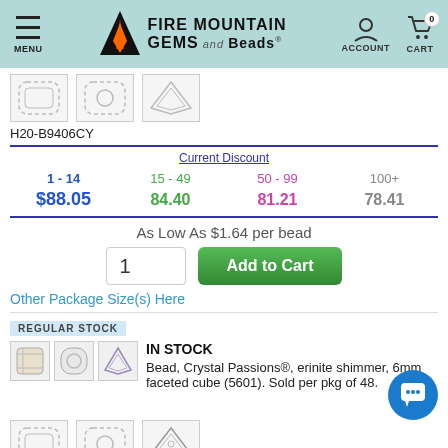MENU | FIRE MOUNTAIN GEMS and Beads | ACCOUNT | CART 0
[Figure (screenshot): Three product thumbnail images of crystal beads]
H20-B9406CY
| Current Discount | 15 - 49 | 50 - 99 | 100+ |
| --- | --- | --- | --- |
| 1 - 14 | 15 - 49 | 50 - 99 | 100+ |
| $88.05 | 84.40 | 81.21 | 78.41 |
As Low As $1.64 per bead
1   Add to Cart
Other Package Size(s) Here
REGULAR STOCK
IN STOCK
Bead, Crystal Passions®, erinite shimmer, 6mm faceted cube (5601). Sold per pkg of 48.
[Figure (photo): Three product thumbnail images of crystal beads for in-stock item]